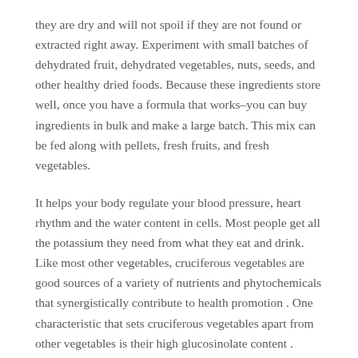they are dry and will not spoil if they are not found or extracted right away. Experiment with small batches of dehydrated fruit, dehydrated vegetables, nuts, seeds, and other healthy dried foods. Because these ingredients store well, once you have a formula that works–you can buy ingredients in bulk and make a large batch. This mix can be fed along with pellets, fresh fruits, and fresh vegetables.
It helps your body regulate your blood pressure, heart rhythm and the water content in cells. Most people get all the potassium they need from what they eat and drink. Like most other vegetables, cruciferous vegetables are good sources of a variety of nutrients and phytochemicals that synergistically contribute to health promotion . One characteristic that sets cruciferous vegetables apart from other vegetables is their high glucosinolate content . Eating asparagus can result in urine that smells like rotten cabbage due to sulfur compounds.